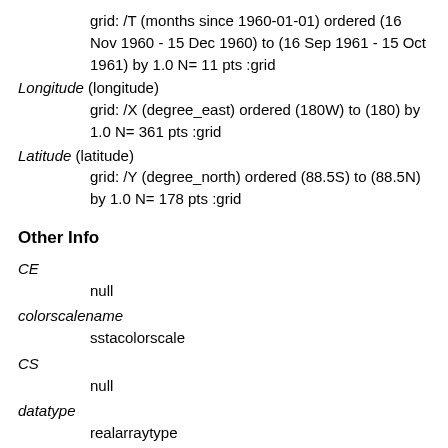grid: /T (months since 1960-01-01) ordered (16 Nov 1960 - 15 Dec 1960) to (16 Sep 1961 - 15 Oct 1961) by 1.0 N= 11 pts :grid
Longitude (longitude)
    grid: /X (degree_east) ordered (180W) to (180) by 1.0 N= 361 pts :grid
Latitude (latitude)
    grid: /Y (degree_north) ordered (88.5S) to (88.5N) by 1.0 N= 178 pts :grid
Other Info
CE
null
colorscalename
sstacolorscale
CS
null
datatype
realarraytype
maxncolor
254
PLOTCOAST